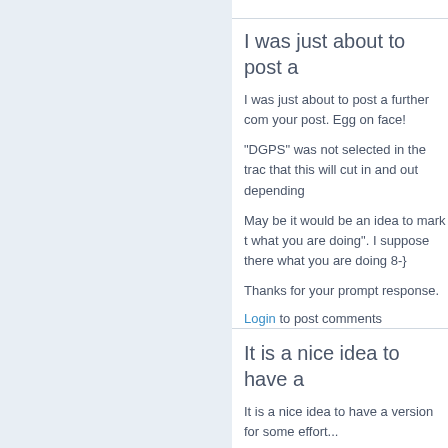I was just about to post a
I was just about to post a further com your post. Egg on face!
"DGPS" was not selected in the trac that this will cut in and out depending
May be it would be an idea to mark t what you are doing". I suppose there what you are doing 8-}
Thanks for your prompt response.
Login to post comments
It is a nice idea to have a
It is a nice idea to have a version for some effort...